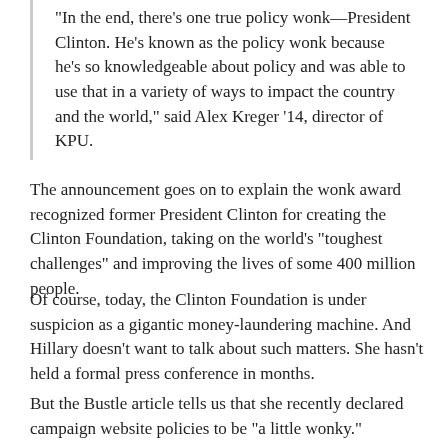“In the end, there’s one true policy wonk—President Clinton. He’s known as the policy wonk because he’s so knowledgeable about policy and was able to use that in a variety of ways to impact the country and the world,” said Alex Kreger ’14, director of KPU.
The announcement goes on to explain the wonk award recognized former President Clinton for creating the Clinton Foundation, taking on the world’s “toughest challenges” and improving the lives of some 400 million people.
Of course, today, the Clinton Foundation is under suspicion as a gigantic money-laundering machine. And Hillary doesn’t want to talk about such matters. She hasn’t held a formal press conference in months.
But the Bustle article tells us that she recently declared campaign website policies to be “a little wonky.”